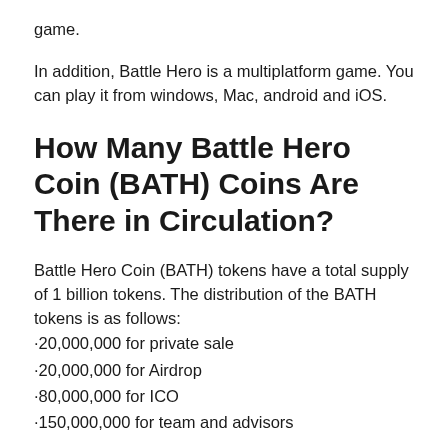game.
In addition, Battle Hero is a multiplatform game. You can play it from windows, Mac, android and iOS.
How Many Battle Hero Coin (BATH) Coins Are There in Circulation?
Battle Hero Coin (BATH) tokens have a total supply of 1 billion tokens. The distribution of the BATH tokens is as follows:
·20,000,000 for private sale
·20,000,000 for Airdrop
·80,000,000 for ICO
·150,000,000 for team and advisors